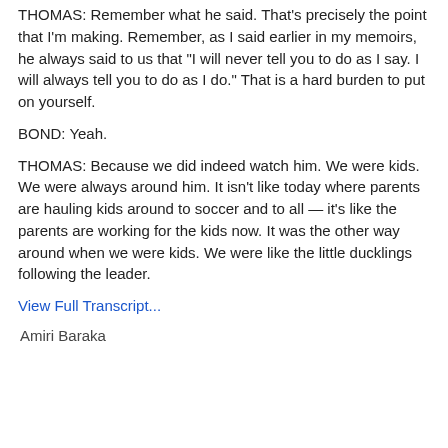THOMAS: Remember what he said. That's precisely the point that I'm making. Remember, as I said earlier in my memoirs, he always said to us that "I will never tell you to do as I say. I will always tell you to do as I do." That is a hard burden to put on yourself.
BOND: Yeah.
THOMAS: Because we did indeed watch him. We were kids. We were always around him. It isn't like today where parents are hauling kids around to soccer and to all — it's like the parents are working for the kids now. It was the other way around when we were kids. We were like the little ducklings following the leader.
View Full Transcript...
Amiri Baraka